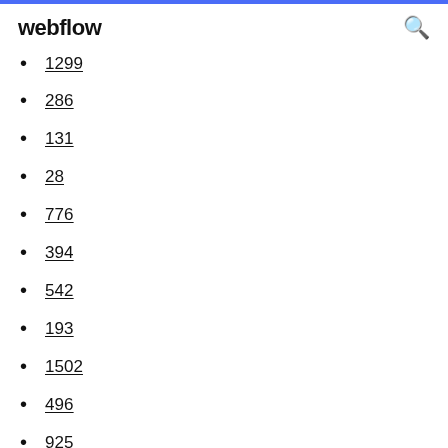webflow
1299
286
131
28
776
394
542
193
1502
496
925
1153
341